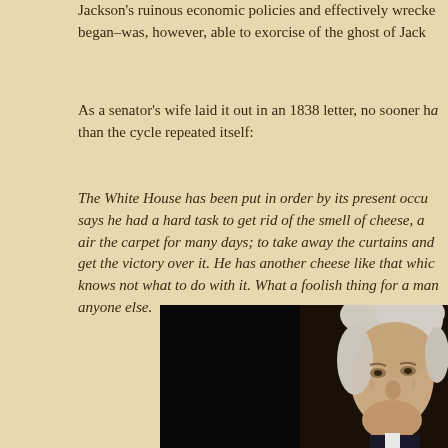Jackson's ruinous economic policies and effectively wrecke began–was, however, able to exorcise of the ghost of Jack
As a senator's wife laid it out in an 1838 letter, no sooner ha than the cycle repeated itself:
The White House has been put in order by its present occu says he had a hard task to get rid of the smell of cheese, a air the carpet for many days; to take away the curtains and get the victory over it. He has another cheese like that whic knows not what to do with it. What a foolish thing for a man anyone else.
[Figure (photo): Portrait of an elderly man with white hair, appearing to be a historical figure, against a dark background.]